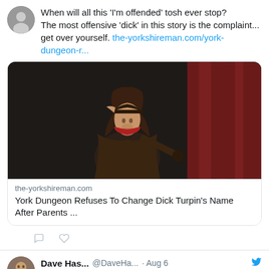When will all this 'I'm offended' tosh ever stop?
The most offensive 'dick' in this story is the complaint... get over yourself. the-yorkshireman.com/york-dungeon-r...
[Figure (photo): Link card showing a man dressed as Dick Turpin (highwayman costume, red bandana) in a dark dramatic setting, from the-yorkshireman.com article titled 'York Dungeon Refuses To Change Dick Turpin's Name After Parents ...']
the-yorkshireman.com
York Dungeon Refuses To Change Dick Turpin's Name After Parents ...
Dave Has... @DaveHa... · Aug 6
To find #recovery from #addiction and your addictive behaviours, developing a